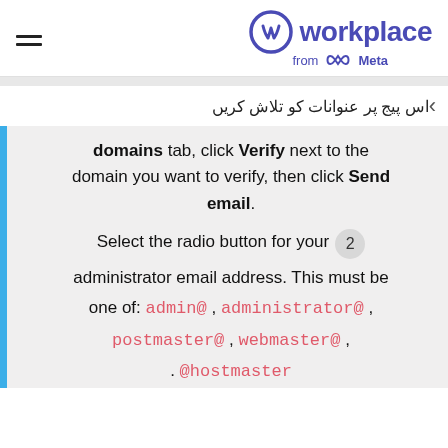Workplace from Meta
اس پیج پر عنوانات کو تلاش کریں
domains tab, click Verify next to the domain you want to verify, then click Send email.
2 Select the radio button for your administrator email address. This must be one of: admin@ , administrator@ , postmaster@ , webmaster@ , @hostmaster .
3 Click Send email.